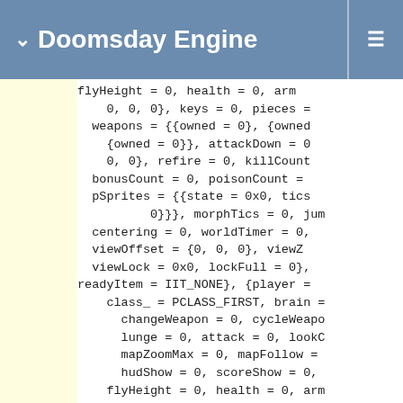Doomsday Engine
flyHeight = 0, health = 0, arm
    0, 0, 0}, keys = 0, pieces =
  weapons = {{owned = 0}, {owned
    {owned = 0}}, attackDown = 0
    0, 0}, refire = 0, killCount
  bonusCount = 0, poisonCount =
  pSprites = {{state = 0x0, tics
          0}}}, morphTics = 0, jum
  centering = 0, worldTimer = 0,
  viewOffset = {0, 0, 0}, viewZ
  viewLock = 0x0, lockFull = 0},
  readyItem = IIT_NONE}, {player =
    class_ = PCLASS_FIRST, brain =
      changeWeapon = 0, cycleWeapo
      lunge = 0, attack = 0, lookC
      mapZoomMax = 0, mapFollow =
      hudShow = 0, scoreShow = 0,
    flyHeight = 0, health = 0, arm
      0, 0, 0}, keys = 0, pieces =
    weapons = {{owned = 0}, {owned
      {owned = 0}}, attackDown = 0
      0, 0}, refire = 0, killCount
    bonusCount = 0, poisonCount =
    pSprites = {{state = 0x0, tics
          0}}}, morphTics = 0, jum